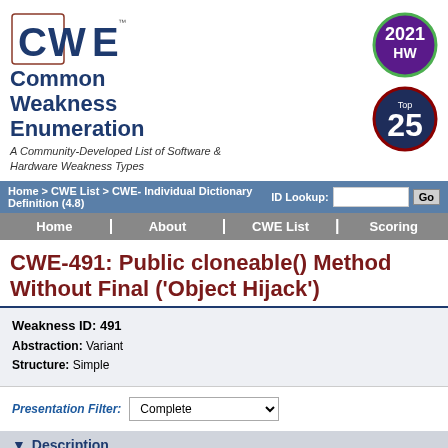[Figure (logo): CWE logo with text Common Weakness Enumeration and tagline]
[Figure (logo): 2021 HW badge - green circle]
[Figure (logo): Top 25 badge - dark blue circle with red border]
Home > CWE List > CWE- Individual Dictionary Definition (4.8) | ID Lookup: [input] Go
Home | About | CWE List | Scoring
CWE-491: Public cloneable() Method Without Final ('Object Hijack')
Weakness ID: 491
Abstraction: Variant
Structure: Simple
Presentation Filter: Complete
Description
A class has a cloneable() method that is not declared fina